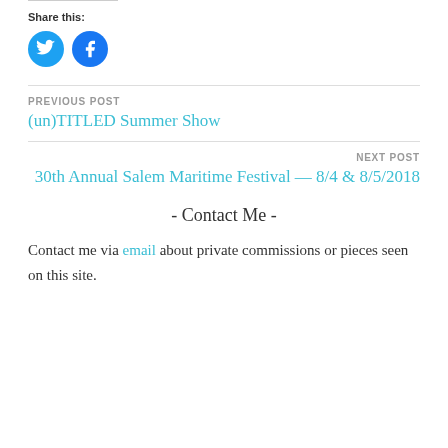Share this:
[Figure (illustration): Two circular social media icon buttons: Twitter (blue bird icon) and Facebook (blue F icon)]
PREVIOUS POST
(un)TITLED Summer Show
NEXT POST
30th Annual Salem Maritime Festival — 8/4 & 8/5/2018
- Contact Me -
Contact me via email about private commissions or pieces seen on this site.